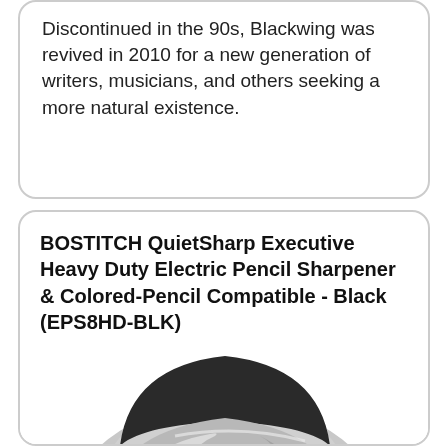Discontinued in the 90s, Blackwing was revived in 2010 for a new generation of writers, musicians, and others seeking a more natural existence.
BOSTITCH QuietSharp Executive Heavy Duty Electric Pencil Sharpener & Colored-Pencil Compatible - Black (EPS8HD-BLK)
[Figure (photo): Photo of a BOSTITCH QuietSharp electric pencil sharpener in black and silver, viewed from a front-side angle showing the pencil hole opening.]